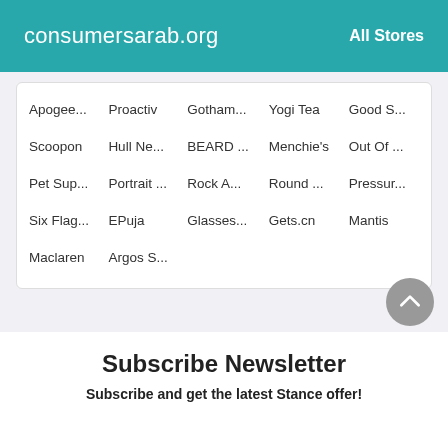consumersarab.org   All Stores
| Apogee... | Proactiv | Gotham... | Yogi Tea | Good S... |
| Scoopon | Hull Ne... | BEARD ... | Menchie's | Out Of ... |
| Pet Sup... | Portrait ... | Rock A... | Round ... | Pressur... |
| Six Flag... | EPuja | Glasses... | Gets.cn | Mantis |
| Maclaren | Argos S... |  |  |  |
Subscribe Newsletter
Subscribe and get the latest Stance offer!